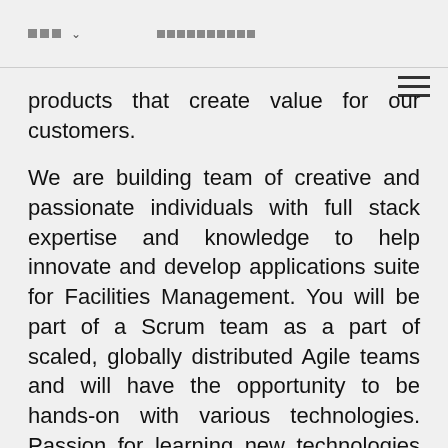□□□ ∨   □□□□□□□□□□
products that create value for our customers.
We are building team of creative and passionate individuals with full stack expertise and knowledge to help innovate and develop applications suite for Facilities Management. You will be part of a Scrum team as a part of scaled, globally distributed Agile teams and will have the opportunity to be hands-on with various technologies. Passion for learning new technologies is required.
WHAT WE DO